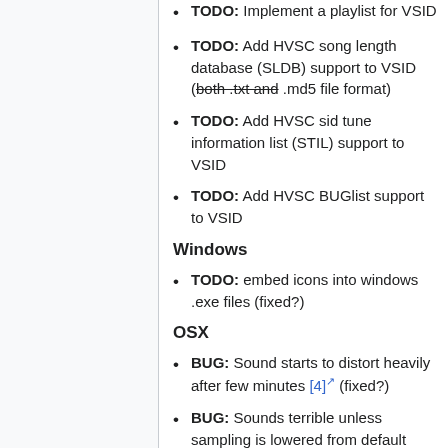TODO: Implement a playlist for VSID
TODO: Add HVSC song length database (SLDB) support to VSID (both .txt and .md5 file format)
TODO: Add HVSC sid tune information list (STIL) support to VSID
TODO: Add HVSC BUGlist support to VSID
Windows
TODO: embed icons into windows .exe files (fixed?)
OSX
BUG: Sound starts to distort heavily after few minutes [4] (fixed?)
BUG: Sounds terrible unless sampling is lowered from default 44Khz to 22Khz [5] (fixed?)